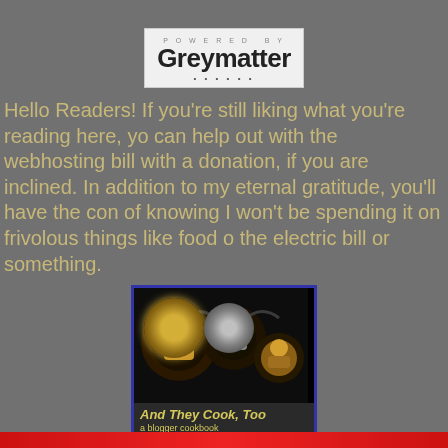[Figure (logo): Powered by Greymatter logo - white background with 'POWERED BY' in small grey spaced letters above bold 'Greymatter' in dark text with dots below]
Hello Readers! If you're still liking what you're reading here, you can help out with the webhosting bill with a donation, if you are so inclined. In addition to my eternal gratitude, you'll have the comfort of knowing I won't be spending it on frivolous things like food or the electric bill or something.
[Figure (illustration): And They Cook, Too - a blogger cookbook fundraiser for Doctors Without Borders. Banner ad with cupcakes photo on top, yellow italic title text, and blue footer bar.]
One of the best deals anywhere.